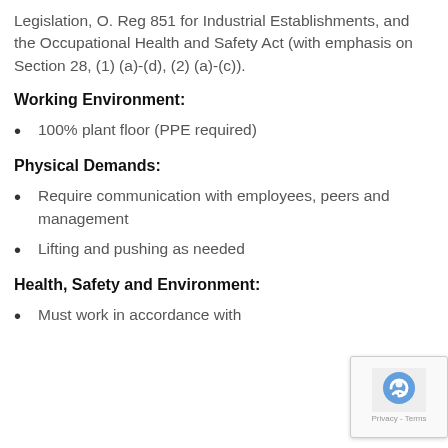Legislation, O. Reg 851 for Industrial Establishments, and the Occupational Health and Safety Act (with emphasis on Section 28, (1) (a)-(d), (2) (a)-(c)).
Working Environment:
100% plant floor (PPE required)
Physical Demands:
Require communication with employees, peers and management
Lifting and pushing as needed
Health, Safety and Environment:
Must work in accordance with